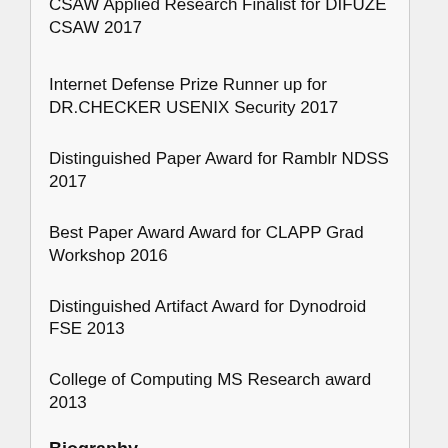CSAW Applied Research Finalist for DIFUZE CSAW 2017
Internet Defense Prize Runner up for DR.CHECKER USENIX Security 2017
Distinguished Paper Award for Ramblr NDSS 2017
Best Paper Award Award for CLAPP Grad Workshop 2016
Distinguished Artifact Award for Dynodroid FSE 2013
College of Computing MS Research award 2013
Biography